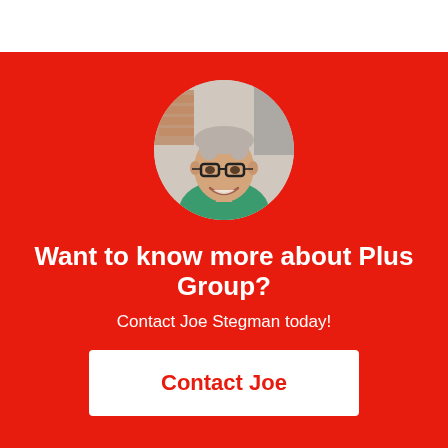[Figure (photo): Circular cropped headshot of a middle-aged man with glasses, short gray hair, and a green shirt, smiling at the camera.]
Want to know more about Plus Group?
Contact Joe Stegman today!
Contact Joe